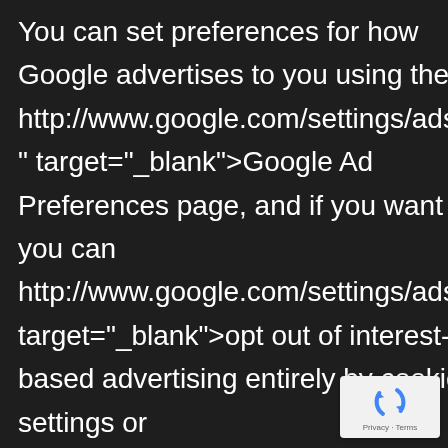You can set preferences for how Google advertises to you using the http://www.google.com/settings/ads/onwe" target="_blank">Google Ad Preferences page, and if you want to you can http://www.google.com/settings/ads/onwe target="_blank">opt out of interest-based advertising entirely by cookie settings or

http://www.google.com/ads/prefer" target=" blank">permanently using
[Figure (logo): reCAPTCHA badge with blue recycling-arrow logo and Privacy · Terms text]